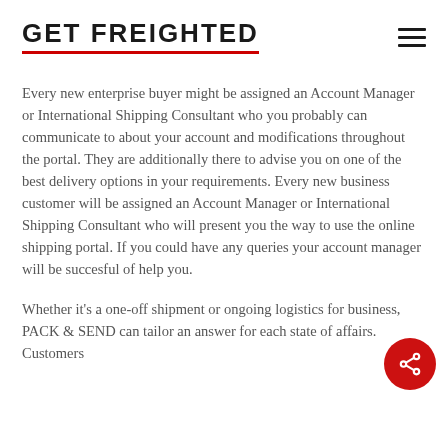GET FREIGHTED
Every new enterprise buyer might be assigned an Account Manager or International Shipping Consultant who you probably can communicate to about your account and modifications throughout the portal. They are additionally there to advise you on one of the best delivery options in your requirements. Every new business customer will be assigned an Account Manager or International Shipping Consultant who will present you the way to use the online shipping portal. If you could have any queries your account manager will be succesful of help you.
Whether it’s a one-off shipment or ongoing logistics for business, PACK & SEND can tailor an answer for each state of affairs. Customers